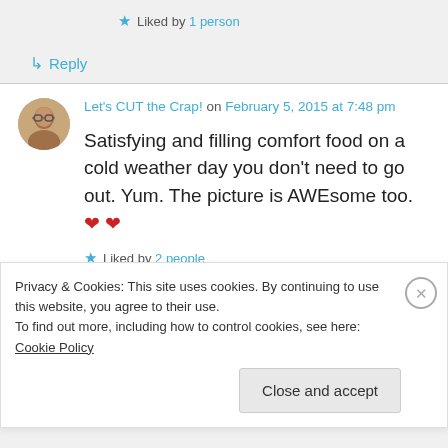★ Liked by 1 person
↳ Reply
Let's CUT the Crap! on February 5, 2015 at 7:48 pm
Satisfying and filling comfort food on a cold weather day you don't need to go out. Yum. The picture is AWEsome too. ❤ ❤
★ Liked by 2 people
Privacy & Cookies: This site uses cookies. By continuing to use this website, you agree to their use. To find out more, including how to control cookies, see here: Cookie Policy
Close and accept